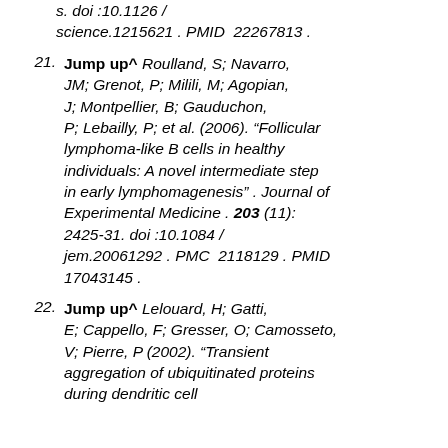(partial continuation) s. doi :10.1126 / science.1215621 . PMID  22267813 .
21. Jump up^ Roulland, S; Navarro, JM; Grenot, P; Milili, M; Agopian, J; Montpellier, B; Gauduchon, P; Lebailly, P; et al. (2006). "Follicular lymphoma-like B cells in healthy individuals: A novel intermediate step in early lymphomagenesis" . Journal of Experimental Medicine . 203 (11): 2425-31. doi :10.1084 / jem.20061292 . PMC  2118129 . PMID  17043145 .
22. Jump up^ Lelouard, H; Gatti, E; Cappello, F; Gresser, O; Camosseto, V; Pierre, P (2002). "Transient aggregation of ubiquitinated proteins during dendritic cell